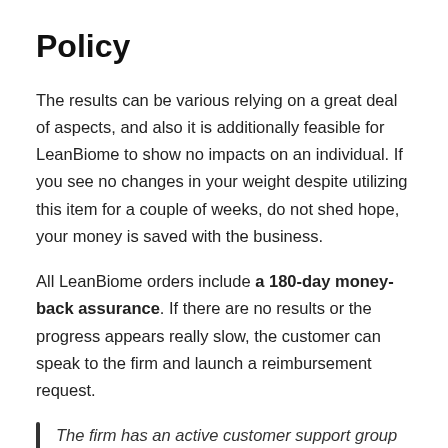Policy
The results can be various relying on a great deal of aspects, and also it is additionally feasible for LeanBiome to show no impacts on an individual. If you see no changes in your weight despite utilizing this item for a couple of weeks, do not shed hope, your money is saved with the business.
All LeanBiome orders include a 180-day money-back assurance. If there are no results or the progress appears really slow, the customer can speak to the firm and launch a reimbursement request.
The firm has an active customer support group